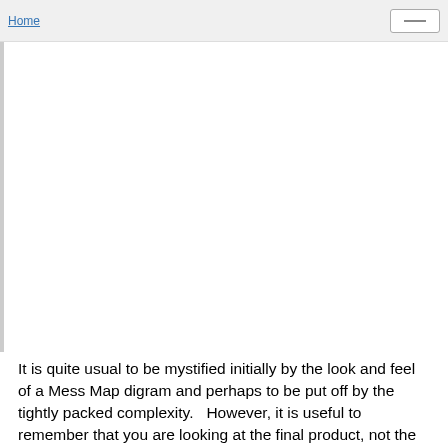Home
[Figure (other): Large white blank area below the navigation header, representing an empty content region or an image placeholder.]
It is quite usual to be mystified initially by the look and feel of a Mess Map digram and perhaps to be put off by the tightly packed complexity.   However, it is useful to remember that you are looking at the final product, not the steps along the way.